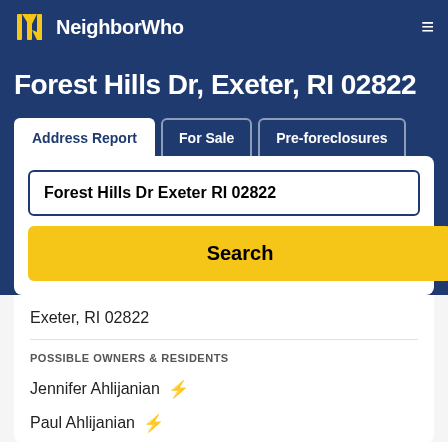NeighborWho
Forest Hills Dr, Exeter, RI 02822
Address Report | For Sale | Pre-foreclosures
Forest Hills Dr Exeter RI 02822
Search
Exeter, RI 02822
POSSIBLE OWNERS & RESIDENTS
Jennifer Ahlijanian
Paul Ahlijanian